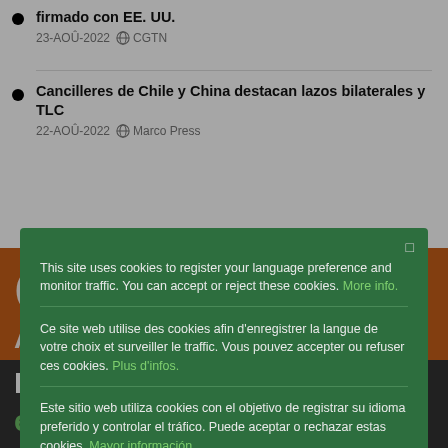firmado con EE. UU.
23-AOÛ-2022  CGTN
Cancilleres de Chile y China destacan lazos bilaterales y TLC
22-AOÛ-2022  Marco Press
[Figure (screenshot): Cookie consent modal overlay on a webpage with orange and dark background bands. Modal is green with three language sections (English, French, Spanish) and an Ok button.]
This site uses cookies to register your language preference and monitor traffic. You can accept or reject these cookies. More info.
Ce site web utilise des cookies afin d'enregistrer la langue de votre choix et surveiller le traffic. Vous pouvez accepter ou refuser ces cookies. Plus d'infos.
Este sitio web utiliza cookies con el objetivo de registrar su idioma preferido y controlar el tráfico. Puede aceptar o rechazar estas cookies. Mayor información.